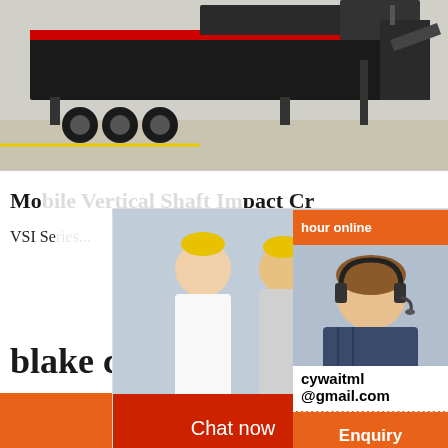[Figure (photo): Industrial mobile crushing/screening machine on truck trailer in a warehouse or facility]
Mobile Vertical Shaft Impact Crusher Cr
VSI Se...
[Figure (screenshot): Live chat popup overlay with workers in yellow hard hats, LIVE CHAT red text, 'Click for a Free Consultation', Chat now and Chat later buttons]
[Figure (photo): Right panel with orange 'hour online' bar, headset customer service agent photo, 'Click to chat' button, 'Enquiry' button]
blake crusher ma...
Chat Online
cywaitml
@gmail.com